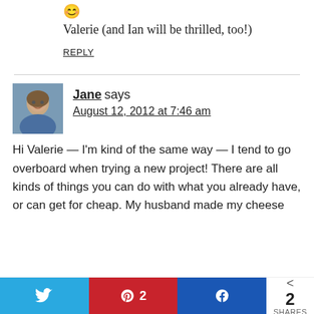😊 Valerie (and Ian will be thrilled, too!)
REPLY
Jane says
August 12, 2012 at 7:46 am
Hi Valerie — I'm kind of the same way — I tend to go overboard when trying a new project! There are all kinds of things you can do with what you already have, or can get for cheap. My husband made my cheese
2 SHARES